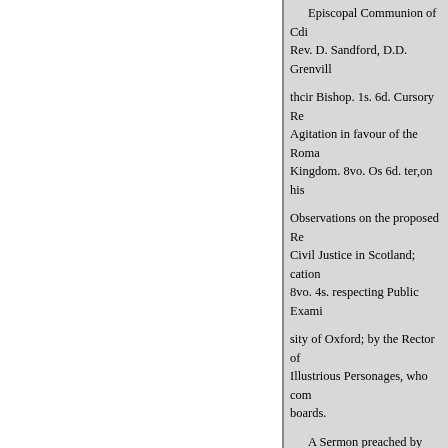Episcopal Communion of Cdi Rev. D. Sandford, D.D. Grenvill thcir Bishop. 1s. 6d. Cursory Re Agitation in favour of the Roma Kingdom. 8vo. Os 6d. ter,on his Observations on the proposed Re Civil Justice in Scotland; cation 8vo. 4s. respecting Public Exami sity of Oxford; by the Rector of Illustrious Personages, who com boards. A Sermon preached by Wells, Guards, at the Baptist ment, on t Leicellerthire, Slave Trade; by < STATISTICS. Account of the Author's Conv Tatham's TWAL taining a Syllab to aliit the inquiries of inexperie 25. 6d. boards. tians, whether in ties; by Cotton Mather, D. D. Re 12mo. 2s. 64. the Unitarian Fond